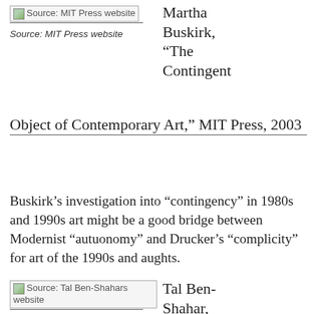[Figure (illustration): Book cover image placeholder labeled 'Source: MIT Press website' with underline]
Source: MIT Press website
Martha Buskirk, “The Contingent Object of Contemporary Art,” MIT Press, 2003
Buskirk’s investigation into “contingency” in 1980s and 1990s art might be a good bridge between Modernist “autuonomy” and Drucker’s “complicity” for art of the 1990s and aughts.
[Figure (illustration): Book cover image placeholder labeled 'Source: Tal Ben-Shahars website' with underline]
Tal Ben-Shahar,